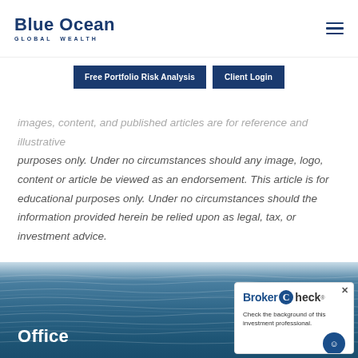Blue Ocean Global Wealth — navigation header with logo and hamburger menu
Free Portfolio Risk Analysis | Client Login
images, content, and published articles are for reference and illustrative purposes only. Under no circumstances should any image, logo, content or article be viewed as an endorsement. This article is for educational purposes only. Under no circumstances should the information provided herein be relied upon as legal, tax, or investment advice.
[Figure (photo): Ocean water surface photo used as footer background]
Office
[Figure (logo): BrokerCheck widget — Check the background of this investment professional.]